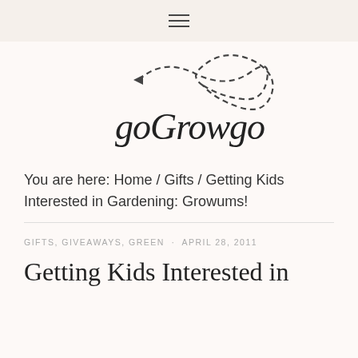≡
[Figure (logo): goGrowgo logo with dashed arrow/infinity loop illustration above cursive text]
You are here: Home / Gifts / Getting Kids Interested in Gardening: Growums!
GIFTS, GIVEAWAYS, GREEN · APRIL 28, 2011
Getting Kids Interested in